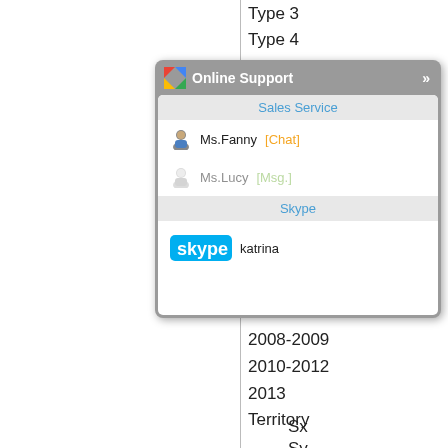Type 3
Type 4
Sable
[Figure (screenshot): Online Support popup widget showing Sales Service section with Ms.Fanny [Chat] and Ms.Lucy [Msg.], and Skype section with katrina username and Skype logo]
1998-1999
2000-2003
2004-2007
2008-2009
2010-2012
2013
Territory
Sx
Sy